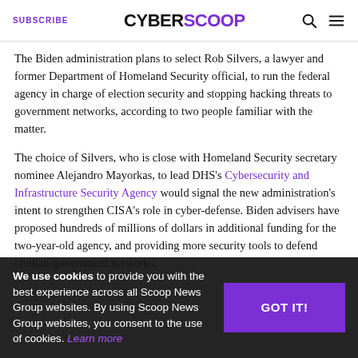SUBSCRIBE | CYBERSCOOP
The Biden administration plans to select Rob Silvers, a lawyer and former Department of Homeland Security official, to run the federal agency in charge of election security and stopping hacking threats to government networks, according to two people familiar with the matter.
The choice of Silvers, who is close with Homeland Security secretary nominee Alejandro Mayorkas, to lead DHS's Cybersecurity and Infrastructure Security Agency would signal the new administration's intent to strengthen CISA's role in cyber-defense. Biden advisers have proposed hundreds of millions of dollars in additional funding for the two-year-old agency, and providing more security tools to defend civilian-government networks.
We use cookies to provide you with the best experience across all Scoop News Group websites. By using Scoop News Group websites, you consent to the use of cookies. Learn more  GOT IT!